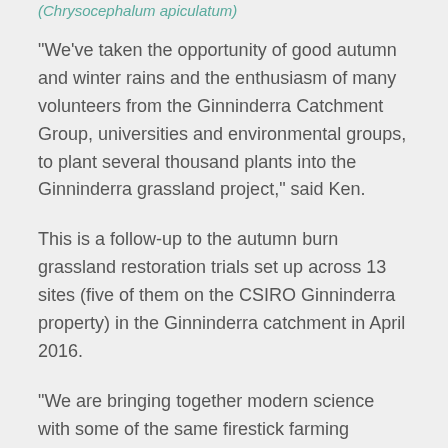(Chrysocephalum apiculatum)
“We’ve taken the opportunity of good autumn and winter rains and the enthusiasm of many volunteers from the Ginninderra Catchment Group, universities and environmental groups, to plant several thousand plants into the Ginninderra grassland project,” said Ken.
This is a follow-up to the autumn burn grassland restoration trials set up across 13 sites (five of them on the CSIRO Ginninderra property) in the Ginninderra catchment in April 2016.
“We are bringing together modern science with some of the same firestick farming methods of our first Australians,” said Ken.
To maintain preferred herbaceous food